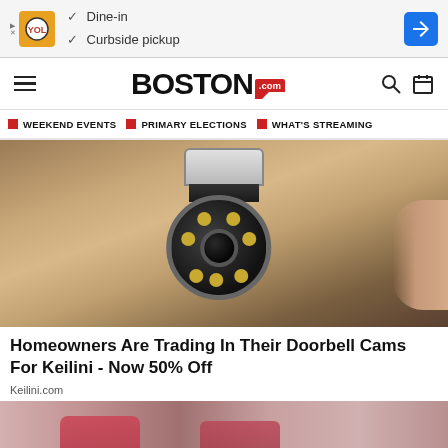[Figure (screenshot): Ad banner: orange/yellow logo icon on left, checkmarks for 'Dine-in' and 'Curbside pickup', blue directional arrow button on right]
BOSTON.com — navigation bar with hamburger menu, Boston.com logo, search and calendar icons
WEEKEND EVENTS  PRIMARY ELECTIONS  WHAT'S STREAMING
[Figure (photo): Hand holding a small white/silver dome security camera with black lens ring and LED lights]
Homeowners Are Trading In Their Doorbell Cams For Keilini - Now 50% Off
Keilini.com
[Figure (photo): Partial image of person wearing pink/red shoes at bottom of page]